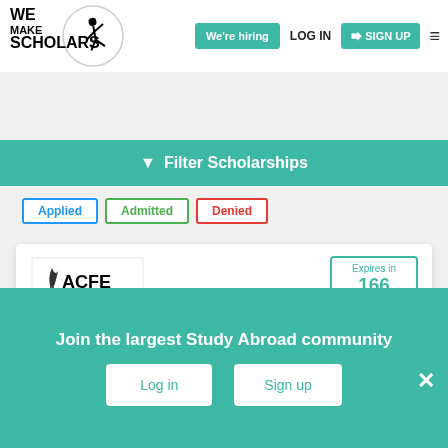[Figure (logo): We Make Scholars logo with gymnast silhouette and circle]
We're hiring
LOG IN
SIGN UP
Filter Scholarships
Applied
Admitted
Denied
[Figure (logo): ACFE - Association of Certified Fraud Examiners logo]
Expires in
166 days
Ritchie-Jennings Memorial Scholarship Program, 2023
Bachelors, Masters
Join the largest Study Abroad community
Log in
Sign up